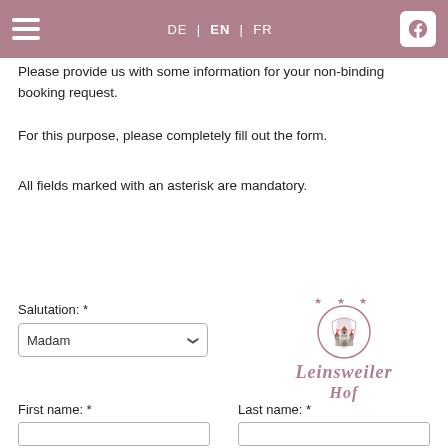DE | EN | FR
Please provide us with some information for your non-binding booking request.
For this purpose, please completely fill out the form.
All fields marked with an asterisk are mandatory.
[Figure (logo): Leinsweiler Hof logo with circular crest and stars, Gothic script text]
Salutation: *
First name: *
Last name: *